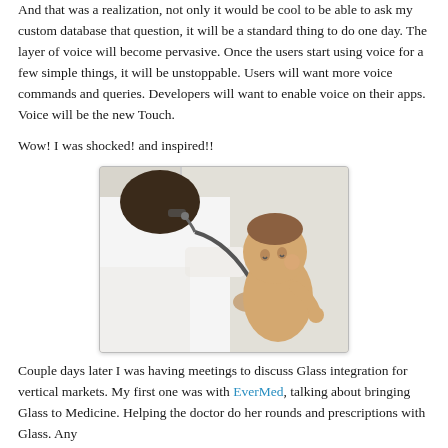And that was a realization, not only it would be cool to be able to ask my custom database that question, it will be a standard thing to do one day. The layer of voice will become pervasive. Once the users start using voice for a few simple things, it will be unstoppable. Users will want more voice commands and queries. Developers will want to enable voice on their apps. Voice will be the new Touch.
Wow! I was shocked! and inspired!!
[Figure (photo): A doctor in a white coat using a stethoscope to examine a baby/toddler who is looking at the stethoscope.]
Couple days later I was having meetings to discuss Glass integration for vertical markets. My first one was with EverMed, talking about bringing Glass to Medicine. Helping the doctor do her rounds and prescriptions with Glass. Any